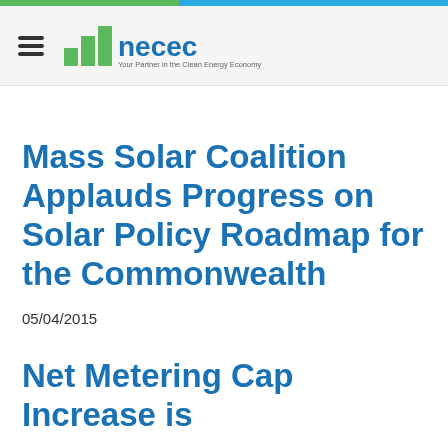necec — Your Partner in the Clean Energy Economy
Mass Solar Coalition Applauds Progress on Solar Policy Roadmap for the Commonwealth
05/04/2015
Net Metering Cap Increase is